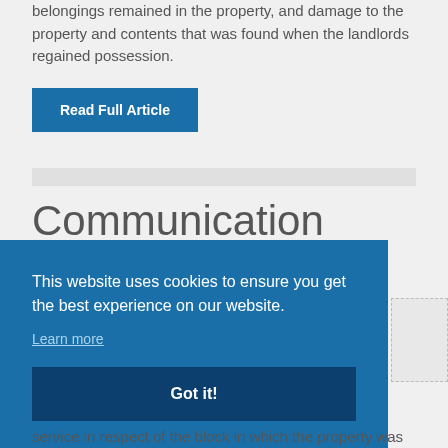belongings remained in the property, and damage to the property and contents that was found when the landlords regained possession.
Read Full Article
Communication
This website uses cookies to ensure you get the best experience on our website.
Learn more
Got it!
service in respect of the block in which the property was